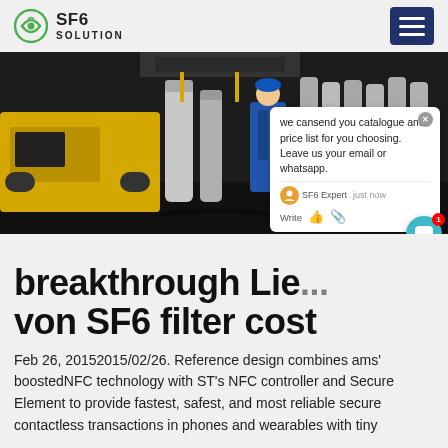SF6 SOLUTION
[Figure (photo): Industrial scene with gas cylinders, yellow vehicle, and worker in blue coveralls in a dark warehouse setting]
we cansend you catalogue and price list for you choosing. Leave us your email or whatsapp.
breakthrough Lie... von SF6 filter cost
Feb 26, 20152015/02/26. Reference design combines ams' boostedNFC technology with ST's NFC controller and Secure Element to provide fastest, safest, and most reliable secure contactless transactions in phones and wearables with tiny